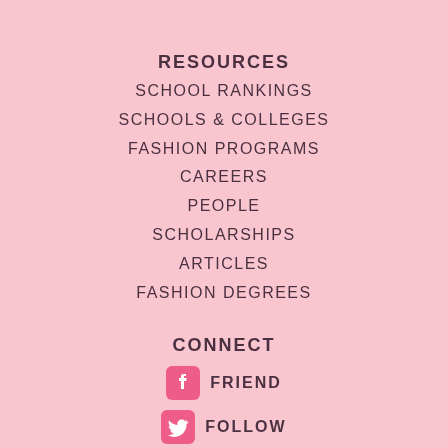RESOURCES
SCHOOL RANKINGS
SCHOOLS & COLLEGES
FASHION PROGRAMS
CAREERS
PEOPLE
SCHOLARSHIPS
ARTICLES
FASHION DEGREES
CONNECT
FRIEND
FOLLOW